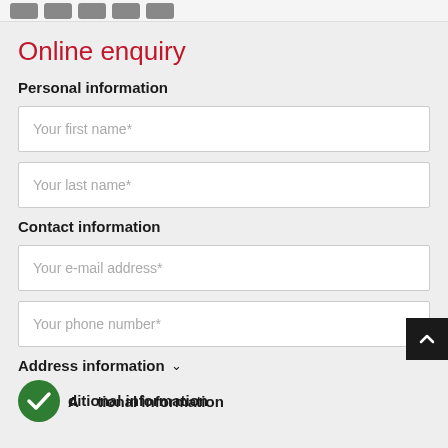[navigation icons]
Online enquiry
Personal information
Your first name*
Your last name*
Contact information
Your e-mail address*
Your phone number*
Address information
Additional information